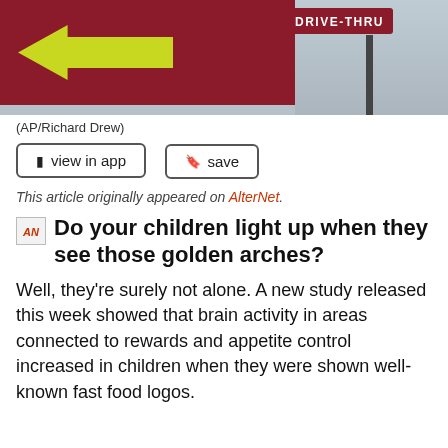[Figure (photo): Photo of a red fast food drive-thru sign with a yellow arrow pointing left, and a separate red DRIVE-THRU sign on a pole in the background against a light sky.]
(AP/Richard Drew)
view in app  save
This article originally appeared on AlterNet.
AlterNet  Do your children light up when they see those golden arches?
Well, they're surely not alone. A new study released this week showed that brain activity in areas connected to rewards and appetite control increased in children when they were shown well-known fast food logos.